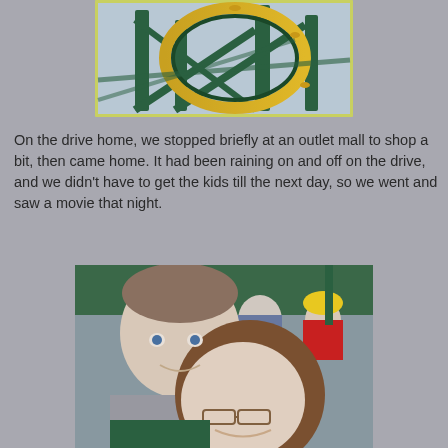[Figure (photo): Close-up photo of a roller coaster structure with green metal supports and yellow/gold track loop against a grey sky]
On the drive home, we stopped briefly at an outlet mall to shop a bit, then came home. It had been raining on and off on the drive, and we didn't have to get the kids till the next day, so we went and saw a movie that night.
[Figure (photo): Selfie-style photo of a couple smiling at an amusement park; man with short hair in grey shirt on left, woman with brown hair and glasses on right; crowd and green structures visible in background]